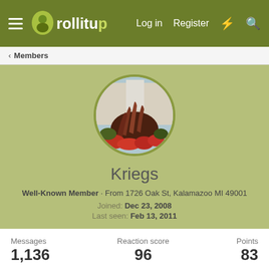rollitup — Log in  Register
< Members
[Figure (photo): Circular avatar photo of a plant/garden scene with reddish-brown ornamental grass and red flowers]
Kriegs
Well-Known Member · From 1726 Oak St, Kalamazoo MI 49001
Joined: Dec 23, 2008
Last seen: Feb 13, 2011
| Messages | Reaction score | Points |
| --- | --- | --- |
| 1,136 | 96 | 83 |
Find ▾
Profile posts  Latest activity  Postings  About